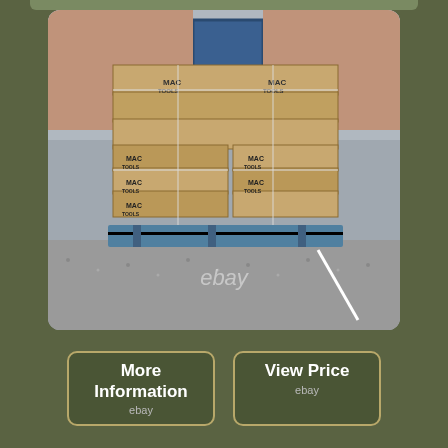[Figure (photo): A pallet stacked with multiple Mac Tools branded cardboard boxes, strapped together with plastic bands, sitting on a blue wooden pallet on a gravel surface outside a building. eBay watermark visible.]
More Information
ebay
View Price
ebay